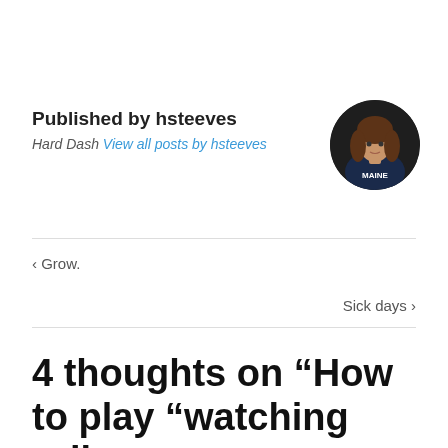Published by hsteeves
Hard Dash View all posts by hsteeves
[Figure (photo): Circular avatar photo of a woman wearing a dark navy MAINE jersey/tank top, with shoulder-length brown hair.]
< Grow.
Sick days >
4 thoughts on “How to play “watching roller